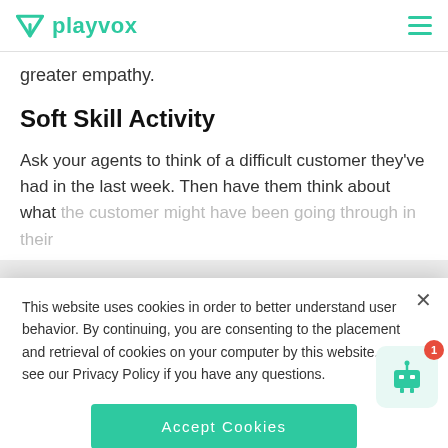playvox
greater empathy.
Soft Skill Activity
Ask your agents to think of a difficult customer they've had in the last week. Then have them think about what the customer might have been going through in their
This website uses cookies in order to better understand user behavior. By continuing, you are consenting to the placement and retrieval of cookies on your computer by this website. Please see our Privacy Policy if you have any questions.
Accept Cookies
Sign up for our newsletter